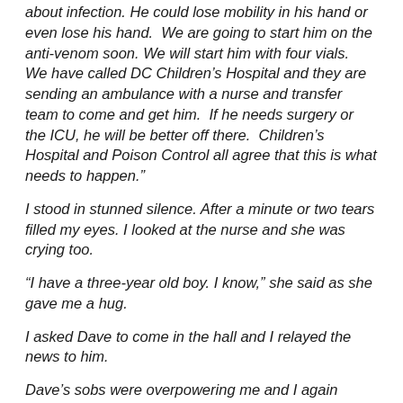about infection. He could lose mobility in his hand or even lose his hand. We are going to start him on the anti-venom soon. We will start him with four vials. We have called DC Children’s Hospital and they are sending an ambulance with a nurse and transfer team to come and get him. If he needs surgery or the ICU, he will be better off there. Children’s Hospital and Poison Control all agree that this is what needs to happen.”
I stood in stunned silence. After a minute or two tears filled my eyes. I looked at the nurse and she was crying too.
“I have a three-year old boy. I know,” she said as she gave me a hug.
I asked Dave to come in the hall and I relayed the news to him.
Dave’s sobs were overpowering me and I again wanted desperately to shut it all out. Instead I hugged him and told him that kids could handle…